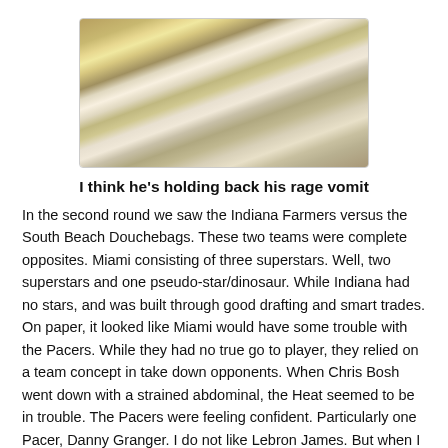[Figure (photo): A crowd of basketball fans at a game, one man in the center appears to be covering his face/mouth with a yellow cloth or towel, looking distressed. Other fans in white shirts and jerseys are visible around him.]
I think he's holding back his rage vomit
In the second round we saw the Indiana Farmers versus the South Beach Douchebags. These two teams were complete opposites. Miami consisting of three superstars. Well, two superstars and one pseudo-star/dinosaur. While Indiana had no stars, and was built through good drafting and smart trades. On paper, it looked like Miami would have some trouble with the Pacers. While they had no true go to player, they relied on a team concept in take down opponents. When Chris Bosh went down with a strained abdominal, the Heat seemed to be in trouble. The Pacers were feeling confident. Particularly one Pacer, Danny Granger. I do not like Lebron James. But when I saw Danny Granger got in his